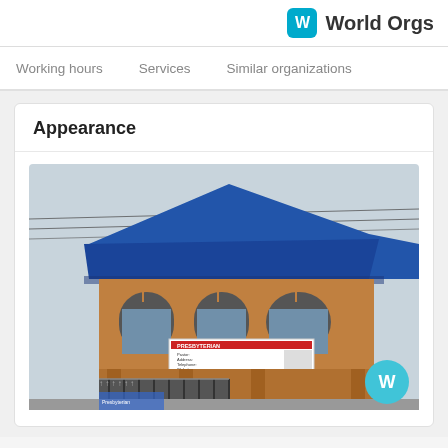W World Orgs
Working hours   Services   Similar organizations
Appearance
[Figure (photo): Exterior photo of a two-story brown/tan building with blue metal roof, arched windows on the upper floor, and a Presbyterian church sign banner on the facade. A gate with barbed wire is visible at the bottom.]